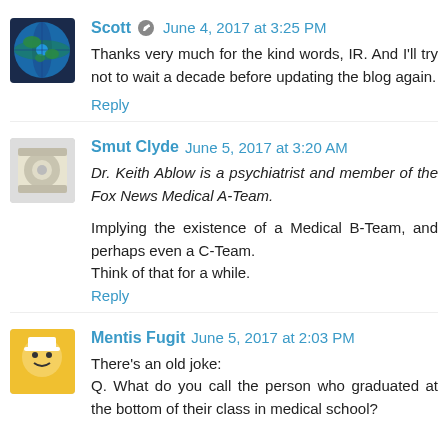Scott  June 4, 2017 at 3:25 PM
Thanks very much for the kind words, IR. And I'll try not to wait a decade before updating the blog again.
Reply
Smut Clyde  June 5, 2017 at 3:20 AM
Dr. Keith Ablow is a psychiatrist and member of the Fox News Medical A-Team.
Implying the existence of a Medical B-Team, and perhaps even a C-Team.
Think of that for a while.
Reply
Mentis Fugit  June 5, 2017 at 2:03 PM
There's an old joke:
Q. What do you call the person who graduated at the bottom of their class in medical school?